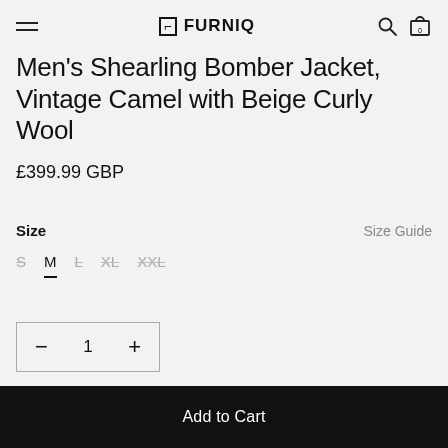FURNIQ
Men's Shearling Bomber Jacket, Vintage Camel with Beige Curly Wool
£399.99 GBP
Size
Size Guide
S
M
L
XL
XXL
— 1 +
Add to Cart
Add to Cart